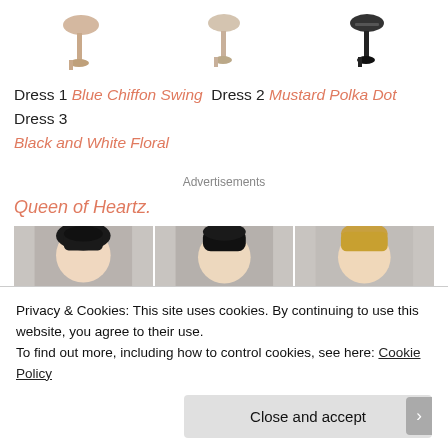[Figure (photo): Three cropped images of shoe/heel bottoms on white background, shown at top of page]
Dress 1 Blue Chiffon Swing  Dress 2 Mustard Polka Dot  Dress 3 Black and White Floral
Advertisements
Queen of Heartz.
[Figure (photo): Three photos of women's heads/faces partially visible, dark-haired women and a blonde, in a strip layout]
Privacy & Cookies: This site uses cookies. By continuing to use this website, you agree to their use.
To find out more, including how to control cookies, see here: Cookie Policy
Close and accept